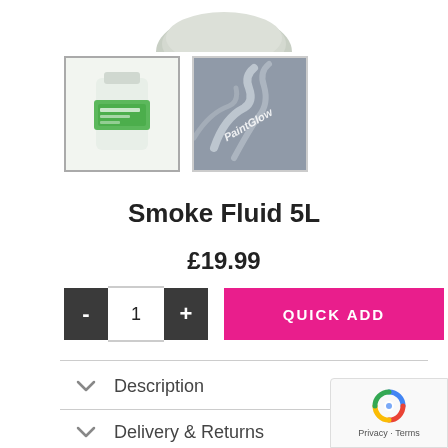[Figure (photo): Bottom portion of a white/light grey rounded product container (smoke fluid jug) cropped at the top]
[Figure (photo): Thumbnail 1: Smoke Fluid 5L jug with green label on white background]
[Figure (photo): Thumbnail 2: PaintGlow branded smoke effect image in grey tones]
Smoke Fluid 5L
£19.99
- 1 + QUICK ADD
Description
Delivery & Returns
Reviews (0)